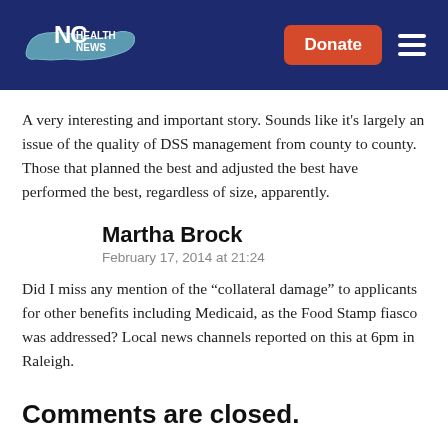[Figure (logo): NC Health News logo on dark navy header with Donate button and hamburger menu]
A very interesting and important story. Sounds like it's largely an issue of the quality of DSS management from county to county. Those that planned the best and adjusted the best have performed the best, regardless of size, apparently.
Martha Brock
February 17, 2014 at 21:24
Did I miss any mention of the “collateral damage” to applicants for other benefits including Medicaid, as the Food Stamp fiasco was addressed? Local news channels reported on this at 6pm in Raleigh.
Comments are closed.